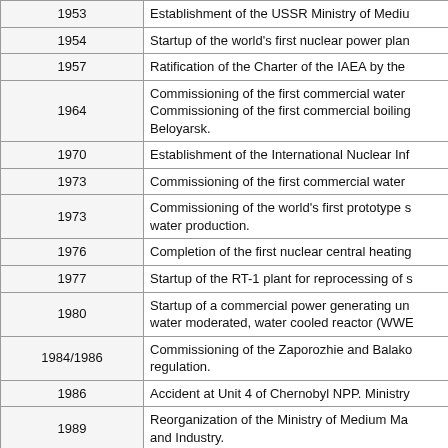| Year | Event |
| --- | --- |
| 1953 | Establishment of the USSR Ministry of Mediu… |
| 1954 | Startup of the world's first nuclear power plan… |
| 1957 | Ratification of the Charter of the IAEA by the… |
| 1964 | Commissioning of the first commercial water…
Commissioning of the first commercial boiling…
Beloyarsk. |
| 1970 | Establishment of the International Nuclear Inf… |
| 1973 | Commissioning of the first commercial water… |
| 1973 | Commissioning of the world's first prototype s…
water production. |
| 1976 | Completion of the first nuclear central heating… |
| 1977 | Startup of the RT-1 plant for reprocessing of s… |
| 1980 | Startup of a commercial power generating un…
water moderated, water cooled reactor (WWE… |
| 1984/1986 | Commissioning of the Zaporozhie and Balako…
regulation. |
| 1986 | Accident at Unit 4 of Chernobyl NPP. Ministry… |
| 1989 | Reorganization of the Ministry of Medium Ma…
and Industry. |
| 1992 | Establishment of the Ministry for Atomic Ener…
Power), which replaced the USSR Ministry of… |
| 1993 | Beginning of conversion of the Russian weap…
Agreement on Nuclear Disarmament. |
| 1995 | 50th anniversary of the nuclear power industr…
uranium into low enriched uranium (the VOU-…
The FEI RF SSC, Obninsk, Kaluga Region, p…
nuclei fission energy into laser radiation. |